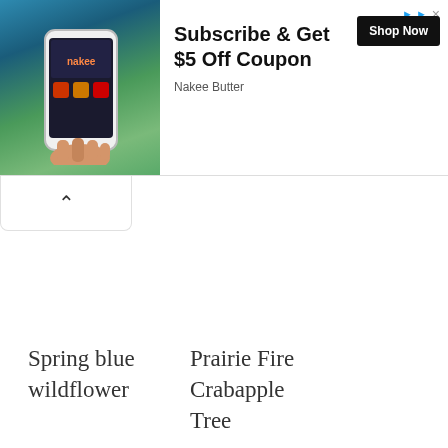[Figure (screenshot): Advertisement banner for Nakee Butter showing a hand holding a phone with app interface, text 'Subscribe & Get $5 Off Coupon', 'Shop Now' button, and 'Nakee Butter' brand name]
Lunaria annua
Pinkcup Daffodils
Pink Azalea
Spring blue wildflower
Prairie Fire Crabapple Tree